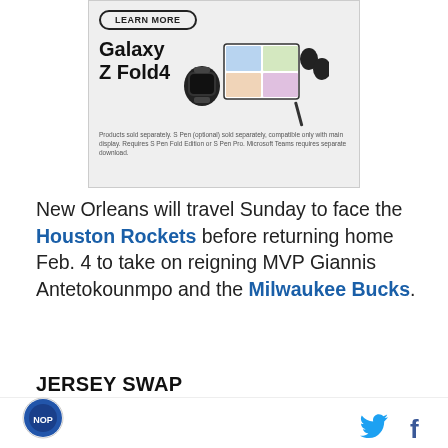[Figure (photo): Samsung Galaxy Z Fold4 advertisement banner showing a 'Learn More' button, the product name 'Galaxy Z Fold4', images of a smartwatch, a foldable phone with video call, and wireless earbuds, with disclaimer text at bottom.]
New Orleans will travel Sunday to face the Houston Rockets before returning home Feb. 4 to take on reigning MVP Giannis Antetokounmpo and the Milwaukee Bucks.
JERSEY SWAP
Memphis and Morant will not see the Pelicans again until Saturday, March 21st, but the top picks did